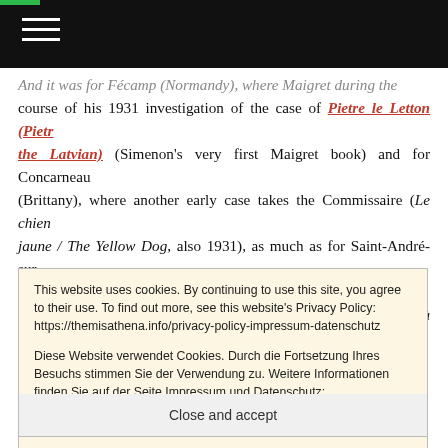[Navigation bar with hamburger menu]
And it was for Fécamp (Normandy), where Maigret during the course of his 1931 investigation of the case of Pietre le Letton (Pietr the Latvian) (Simenon's very first Maigret book) and for Concarneau (Brittany), where another early case takes the Commissaire (Le chien jaune / The Yellow Dog, also 1931), as much as for Saint-André-sur-Mer (like Les Sables d'Olonne, not far from La Rochelle), where Maigret finds himself in the later (1954) case entitled Maigret à l'école (Maigret Goes to School); and also for the non-Maigret book Le
This website uses cookies. By continuing to use this site, you agree to their use. To find out more, see this website's Privacy Policy: https://themisathena.info/privacy-policy-impressum-datenschutz

Diese Website verwendet Cookies. Durch die Fortsetzung Ihres Besuchs stimmen Sie der Verwendung zu. Weitere Informationen finden Sie auf der Seite Impressum und Datenschutz: https://themisathena.info/privacy-policy-impressum-datenschutz Privacy & Cookie Policy
Close and accept
Maigret does work up an interest in her circumstances, has died just